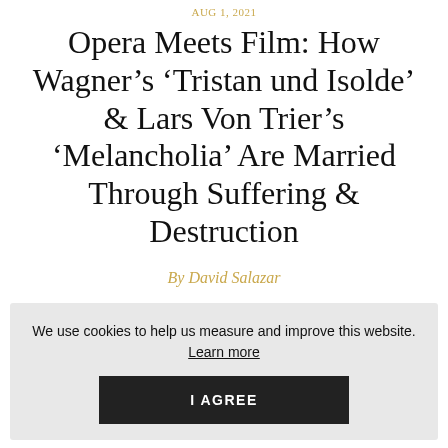AUG 1, 2021
Opera Meets Film: How Wagner’s ‘Tristan und Isolde’ & Lars Von Trier’s ‘Melancholia’ Are Married Through Suffering & Destruction
By David Salazar
We use cookies to help us measure and improve this website. Learn more
I AGREE